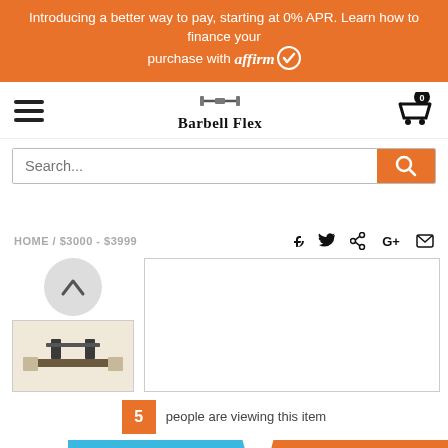Introducing a better way to pay, starting at 0% APR. Learn how to finance your purchase with affirm
Barbell Flex
Search...
HOME / $3000 - $3999
[Figure (screenshot): Product thumbnail image showing fitness equipment]
5 people are viewing this item
+ Add To Cart
+ Buy Now